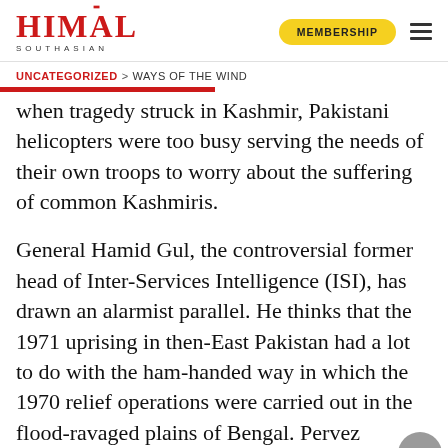HIMAL SOUTHASIAN | MEMBERSHIP
UNCATEGORIZED > WAYS OF THE WIND
when tragedy struck in Kashmir, Pakistani helicopters were too busy serving the needs of their own troops to worry about the suffering of common Kashmiris.
General Hamid Gul, the controversial former head of Inter-Services Intelligence (ISI), has drawn an alarmist parallel. He thinks that the 1971 uprising in then-East Pakistan had a lot to do with the ham-handed way in which the 1970 relief operations were carried out in the flood-ravaged plains of Bengal. Pervez Musharraf and